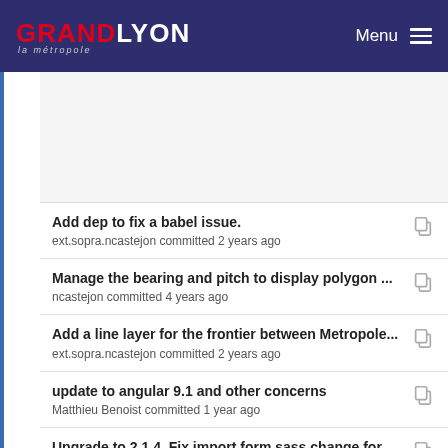GRANDLYON la métropole — Menu
Add dep to fix a babel issue.
ext.sopra.ncastejon committed 2 years ago
Manage the bearing and pitch to display polygon ...
ncastejon committed 4 years ago
Add a line layer for the frontier between Metropole...
ext.sopra.ncastejon committed 2 years ago
update to angular 9.1 and other concerns
Matthieu Benoist committed 1 year ago
Upgrade to 2.1.4. Fix import form.sass change for ...
ncastejon committed 3 years ago